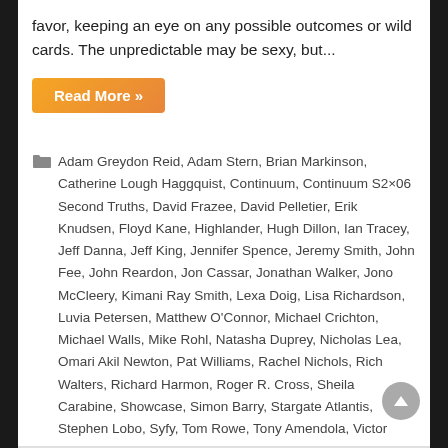favor, keeping an eye on any possible outcomes or wild cards. The unpredictable may be sexy, but...
Read More »
Adam Greydon Reid, Adam Stern, Brian Markinson, Catherine Lough Haggquist, Continuum, Continuum S2×06 Second Truths, David Frazee, David Pelletier, Erik Knudsen, Floyd Kane, Highlander, Hugh Dillon, Ian Tracey, Jeff Danna, Jeff King, Jennifer Spence, Jeremy Smith, John Fee, John Reardon, Jon Cassar, Jonathan Walker, Jono McCleery, Kimani Ray Smith, Lexa Doig, Lisa Richardson, Luvia Petersen, Matthew O'Connor, Michael Crichton, Michael Walls, Mike Rohl, Natasha Duprey, Nicholas Lea, Omari Akil Newton, Pat Williams, Rachel Nichols, Rich Walters, Richard Harmon, Roger R. Cross, Sheila Carabine, Showcase, Simon Barry, Stargate Atlantis, Stephen Lobo, Syfy, Tom Rowe, Tony Amendola, Victor Webster, William B. Davis